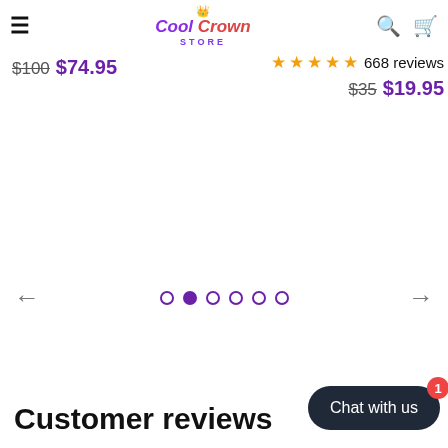Cool Crown Store
$100 $74.95
★★★★★ 668 reviews $35 $19.95
[Figure (infographic): Carousel navigation with left arrow, 6 dots (second filled/active), and right arrow]
Customer reviews
[Figure (other): Chat with us button with red badge showing 1]